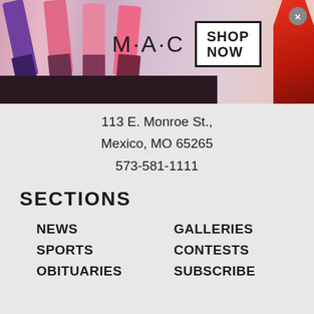[Figure (photo): MAC cosmetics advertisement banner with lipsticks, MAC logo, and SHOP NOW button]
113 E. Monroe St.,
Mexico, MO 65265
573-581-1111
SECTIONS
NEWS
SPORTS
OBITUARIES
CALENDAR
CLASSIFIEDS
E-EDITIONS
GALLERIES
CONTESTS
SUBSCRIBE
SEND US YOUR NEWS
WEB EXTRAS
[Figure (photo): Quicken advertisement: Take Control of Your Finances with BUY NOW button]